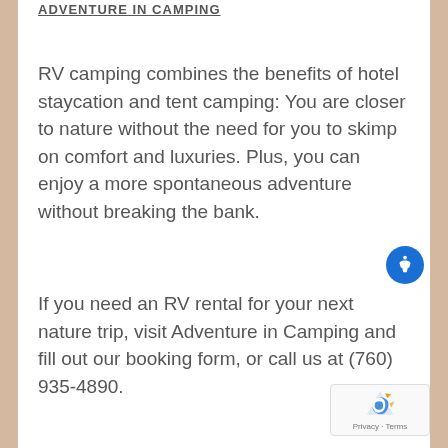ADVENTURE IN CAMPING
RV camping combines the benefits of hotel staycation and tent camping: You are closer to nature without the need for you to skimp on comfort and luxuries. Plus, you can enjoy a more spontaneous adventure without breaking the bank.
If you need an RV rental for your next nature trip, visit Adventure in Camping and fill out our booking form, or call us at (760) 935-4890.